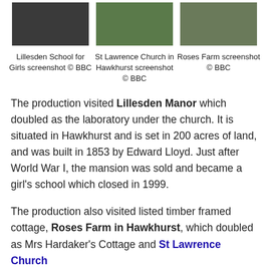[Figure (photo): Three screenshots arranged in a row: Lillesden School for Girls, St Lawrence Church in Hawkhurst, and Roses Farm]
Lillesden School for Girls screenshot © BBC
St Lawrence Church in Hawkhurst screenshot © BBC
Roses Farm screenshot © BBC
The production visited Lillesden Manor which doubled as the laboratory under the church. It is situated in Hawkhurst and is set in 200 acres of land, and was built in 1853 by Edward Lloyd. Just after World War I, the mansion was sold and became a girl's school which closed in 1999.
The production also visited listed timber framed cottage, Roses Farm in Hawkhurst, which doubled as Mrs Hardaker's Cottage and St Lawrence Church